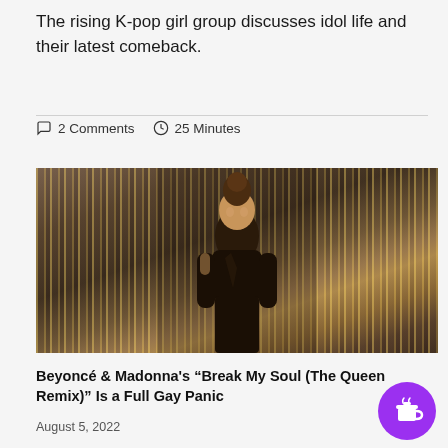The rising K-pop girl group discusses idol life and their latest comeback.
2 Comments   25 Minutes
[Figure (photo): A woman with hair in an updo, wearing a dark low-cut outfit, posed in front of gold/silver tinsel curtain backdrop.]
Beyoncé & Madonna's “Break My Soul (The Queen Remix)” Is a Full Gay Panic
August 5, 2022